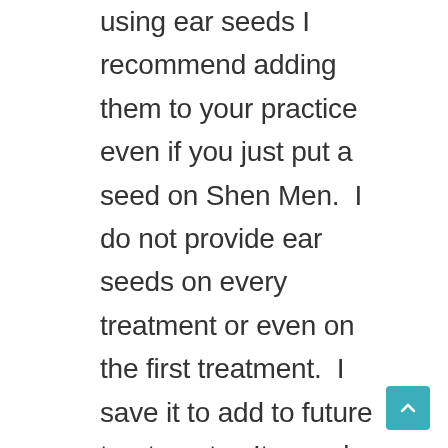using ear seeds I recommend adding them to your practice even if you just put a seed on Shen Men.  I do not provide ear seeds on every treatment or even on the first treatment.  I save it to add to future treatments.  It can also be something that